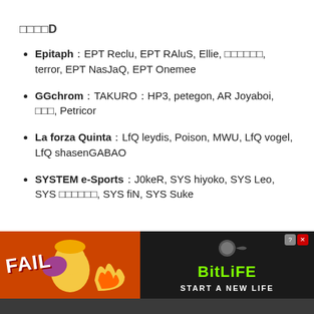グループD
Epitaph：EPT Reclu, EPT RAluS, Ellie, ももたろう, terror, EPT NasJaQ, EPT Onemee
GGchrom：TAKURO：HP3, petegon, AR Joyaboi, 羅刹, Petricor
La forza Quinta：LfQ leydis, Poison, MWU, LfQ vogel, LfQ shasenGABAO
SYSTEM e-Sports：J0keR, SYS hiyoko, SYS Leo, SYS ひよこ改, SYS fiN, SYS Suke
Wai…WaNi…, M…
[Figure (other): BitLife advertisement banner - START A NEW LIFE]
グループE